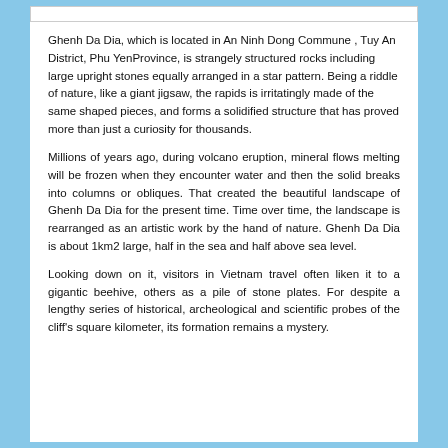Ghenh Da Dia, which is located in An Ninh Dong Commune , Tuy An District, Phu YenProvince, is strangely structured rocks including large upright stones equally arranged in a star pattern. Being a riddle of nature, like a giant jigsaw, the rapids is irritatingly made of the same shaped pieces, and forms a solidified structure that has proved more than just a curiosity for thousands.
Millions of years ago, during volcano eruption, mineral flows melting will be frozen when they encounter water and then the solid breaks into columns or obliques. That created the beautiful landscape of Ghenh Da Dia for the present time. Time over time, the landscape is rearranged as an artistic work by the hand of nature. Ghenh Da Dia is about 1km2 large, half in the sea and half above sea level.
Looking down on it, visitors in Vietnam travel often liken it to a gigantic beehive, others as a pile of stone plates. For despite a lengthy series of historical, archeological and scientific probes of the cliff's square kilometer, its formation remains a mystery.